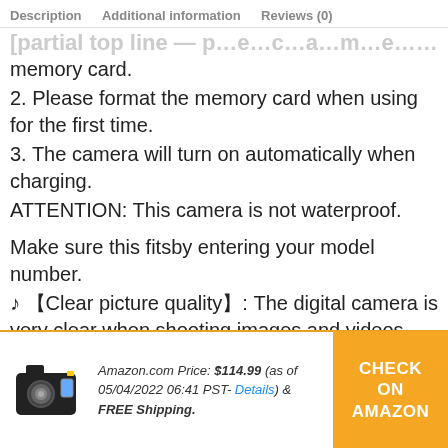Description   Additional information   Reviews (0)
[truncated top line - partially visible]
memory card.
2. Please format the memory card when using for the first time.
3. The camera will turn on automatically when charging.
ATTENTION: This camera is not waterproof.
Make sure this fitsby entering your model number.
♪ 【Clear picture quality】: The digital camera is very clear when shooting images and videos. Our camcorder can record videos up to 4K, and the
Amazon.com Price: $114.99 (as of 05/04/2022 06:41 PST- Details) & FREE Shipping.
CHECK ON AMAZON